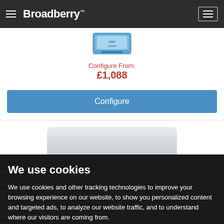Broadberry
[Figure (photo): Intel processor badge/logo image]
Configure From:
£1,088
Configure
[Figure (photo): White server or device product image, partially visible]
We use cookies
We use cookies and other tracking technologies to improve your browsing experience on our website, to show you personalized content and targeted ads, to analyze our website traffic, and to understand where our visitors are coming from.